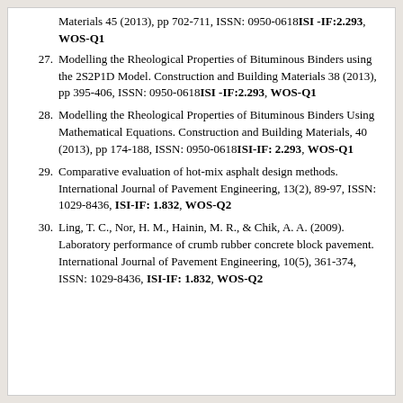Materials 45 (2013), pp 702-711, ISSN: 0950-0618ISI -IF:2.293, WOS-Q1
27. Modelling the Rheological Properties of Bituminous Binders using the 2S2P1D Model. Construction and Building Materials 38 (2013), pp 395-406, ISSN: 0950-0618ISI -IF:2.293, WOS-Q1
28. Modelling the Rheological Properties of Bituminous Binders Using Mathematical Equations. Construction and Building Materials, 40 (2013), pp 174-188, ISSN: 0950-0618ISI-IF: 2.293, WOS-Q1
29. Comparative evaluation of hot-mix asphalt design methods. International Journal of Pavement Engineering, 13(2), 89-97, ISSN: 1029-8436, ISI-IF: 1.832, WOS-Q2
30. Ling, T. C., Nor, H. M., Hainin, M. R., & Chik, A. A. (2009). Laboratory performance of crumb rubber concrete block pavement. International Journal of Pavement Engineering, 10(5), 361-374, ISSN: 1029-8436, ISI-IF: 1.832, WOS-Q2